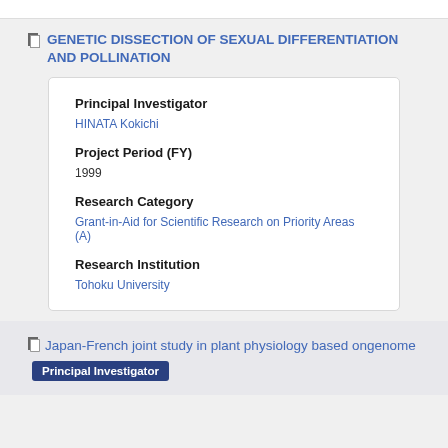GENETIC DISSECTION OF SEXUAL DIFFERENTIATION AND POLLINATION
Principal Investigator
HINATA Kokichi
Project Period (FY)
1999
Research Category
Grant-in-Aid for Scientific Research on Priority Areas (A)
Research Institution
Tohoku University
Japan-French joint study in plant physiology based ongenome
Principal Investigator